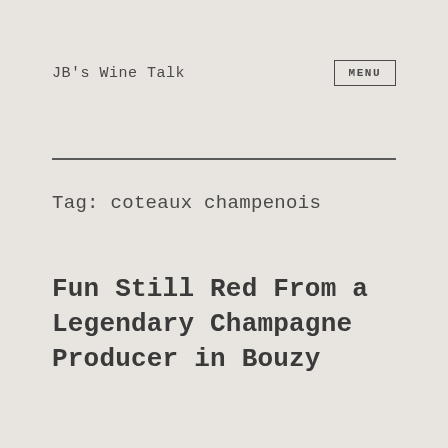JB's Wine Talk
Tag: coteaux champenois
Fun Still Red From a Legendary Champagne Producer in Bouzy